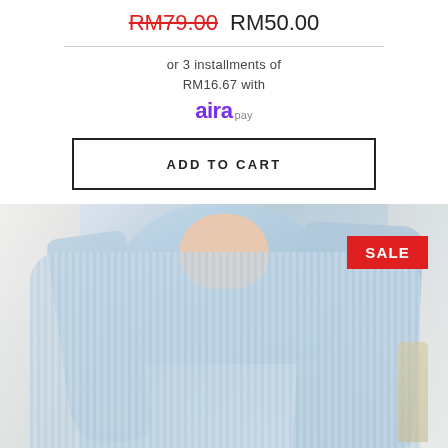RM79.00  RM50.00
or 3 installments of RM16.67 with aira pay
ADD TO CART
[Figure (photo): Woman wearing a light blue ribbed knit sweater and matching light blue hijab, posing against a light background. A red SALE badge is visible in the top right corner of the image.]